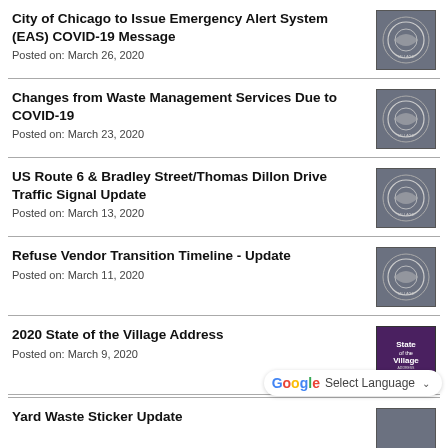City of Chicago to Issue Emergency Alert System (EAS) COVID-19 Message
Posted on: March 26, 2020
Changes from Waste Management Services Due to COVID-19
Posted on: March 23, 2020
US Route 6 & Bradley Street/Thomas Dillon Drive Traffic Signal Update
Posted on: March 13, 2020
Refuse Vendor Transition Timeline - Update
Posted on: March 11, 2020
2020 State of the Village Address
Posted on: March 9, 2020
Yard Waste Sticker Update